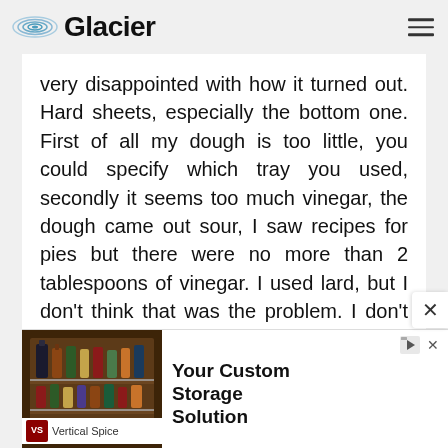Glacier
very disappointed with how it turned out. Hard sheets, especially the bottom one. First of all my dough is too little, you could specify which tray you used, secondly it seems too much vinegar, the dough came out sour, I saw recipes for pies but there were no more than 2 tablespoons of vinegar. I used lard, but I don't think that was the problem. I don't know where I went wrong, because I followed the whole recipe. Anyway, in the picture it looks like a tender pie, which melts in my mouth or
[Figure (photo): Advertisement banner showing a kitchen cabinet spice organizer with bottles of spices and condiments on tiered shelves, with text 'Your Custom Storage Solution' and branding for Vertical Spice]